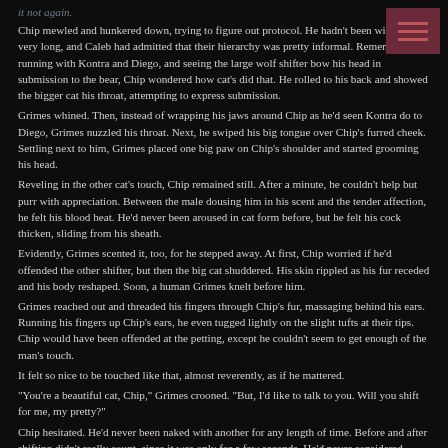it not again.
Chip mewled and hunkered down, trying to figure out protocol. He hadn't been with a pack very long, and Caleb had admitted that their hierarchy was pretty informal. Remembering running with Kontra and Diego, and seeing the large wolf shifter bow his head in submission to the bear, Chip wondered how cat's did that. He rolled to his back and showed the bigger cat his throat, attempting to express submission.
Grimes whined. Then, instead of wrapping his jaws around Chip as he'd seen Kontra do to Diego, Grimes nuzzled his throat. Next, he swiped his big tongue over Chip's furred cheek. Settling next to him, Grimes placed one big paw on Chip's shoulder and started grooming his head.
Reveling in the other cat's touch, Chip remained still. After a minute, he couldn't help but purr with appreciation. Between the male dousing him in his scent and the tender affection, he felt his blood heat. He'd never been aroused in cat form before, but he felt his cock thicken, sliding from his sheath.
Evidently, Grimes scented it, too, for he stepped away. At first, Chip worried if he'd offended the other shifter, but then the big cat shuddered. His skin rippled as his fur receded and his body reshaped. Soon, a human Grimes knelt before him.
Grimes reached out and threaded his fingers through Chip's fur, massaging behind his ears. Running his fingers up Chip's ears, he even tugged lightly on the slight tufts at their tips. Chip would have been offended at the petting, except he couldn't seem to get enough of the man's touch.
It felt so nice to be touched like that, almost reverently, as if he mattered.
“You’re a beautiful cat, Chip,” Grimes crooned. “But, I’d like to talk to you. Will you shift for me, my pretty?”
Chip hesitated. He’d never been naked with another for any length of time. Before and after shifting didn’t really count, since it was only for a few seconds. He’d never considered himself vain, but…his time with the scientists hadn’t been kind to his body.